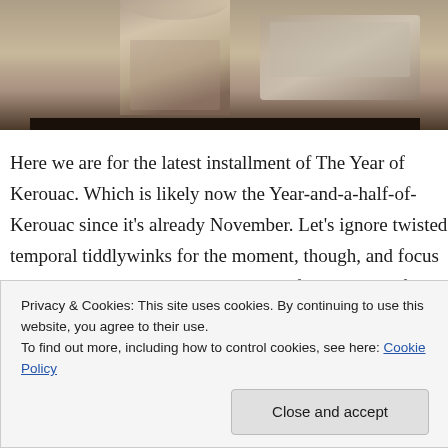[Figure (photo): Sepia-toned photograph of a man (Jack Kerouac) with a car in the background, cropped at the top of the page.]
Here we are for the latest installment of The Year of Kerouac. Which is likely now the Year-and-a-half-of-Kerouac since it’s already November. Let’s ignore twisted temporal tiddlywinks for the moment, though, and focus back on the mission: I have set myself the project of re-reading (and in many cases, reading for the first time) the works of Jack Kerouac in one(ish) year(s). As a quick refresher on the ground rules, I’m reading them not in the
Privacy & Cookies: This site uses cookies. By continuing to use this website, you agree to their use.
To find out more, including how to control cookies, see here: Cookie Policy
Close and accept